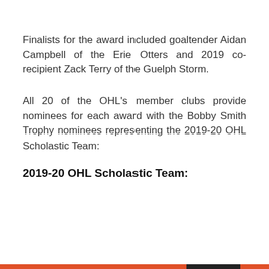Finalists for the award included goaltender Aidan Campbell of the Erie Otters and 2019 co-recipient Zack Terry of the Guelph Storm.
All 20 of the OHL's member clubs provide nominees for each award with the Bobby Smith Trophy nominees representing the 2019-20 OHL Scholastic Team:
2019-20 OHL Scholastic Team:
Privacy & Cookies: This site uses cookies. By continuing to use this website, you agree to their use.
To find out more, including how to control cookies, see here: Cookie Policy
Close and accept